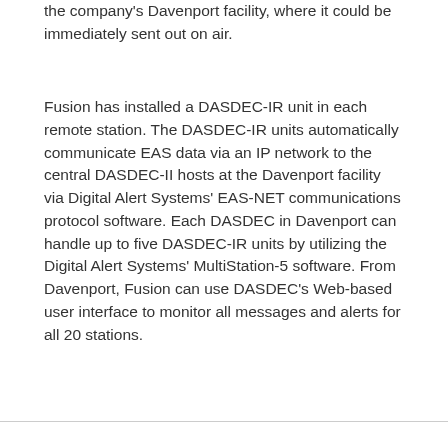the company's Davenport facility, where it could be immediately sent out on air.
Fusion has installed a DASDEC-IR unit in each remote station. The DASDEC-IR units automatically communicate EAS data via an IP network to the central DASDEC-II hosts at the Davenport facility via Digital Alert Systems' EAS-NET communications protocol software. Each DASDEC in Davenport can handle up to five DASDEC-IR units by utilizing the Digital Alert Systems' MultiStation-5 software. From Davenport, Fusion can use DASDEC's Web-based user interface to monitor all messages and alerts for all 20 stations.